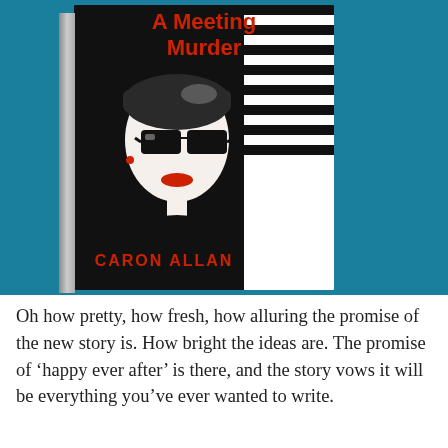[Figure (photo): A 3D rendered book cover for 'A Meeting for Murder' by Caron Allan. The cover features a stylized illustration of a woman wearing large black sunglasses and a beret, dressed in black, against a black and white horizontal striped background panel on the right side. The book title is in red text at the top and the author name CARON ALLAN is in red at the bottom. The book is photographed at a slight angle against a teal/blue background.]
Oh how pretty, how fresh, how alluring the promise of the new story is. How bright the ideas are. The promise of ‘happy ever after’ is there, and the story vows it will be everything you’ve ever wanted to write.